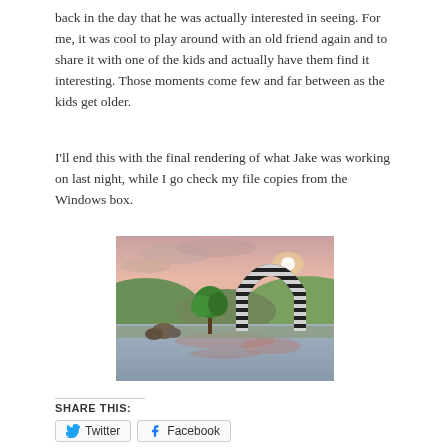back in the day that he was actually interested in seeing. For me, it was cool to play around with an old friend again and to share it with one of the kids and actually have them find it interesting. Those moments come few and far between as the kids get older.
I'll end this with the final rendering of what Jake was working on last night, while I go check my file copies from the Windows box.
[Figure (photo): A 3D rendered scene showing a landscape with a pink/sunset sky, rolling green hills, a body of water in the foreground, a green tree, rocks, and a black striped arch structure.]
SHARE THIS:
Twitter
Facebook